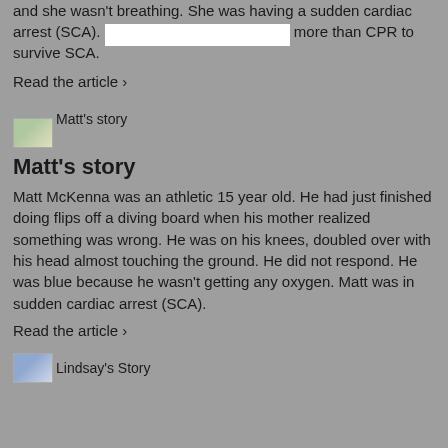and she wasn't breathing. She was having a sudden cardiac arrest (SCA). [redacted] more than CPR to survive SCA.
Read the article ›
[Figure (photo): Thumbnail image labeled Matt's story]
Matt's story
Matt McKenna was an athletic 15 year old. He had just finished doing flips off a diving board when his mother realized something was wrong. He was on his knees, doubled over with his head almost touching the ground. He did not respond. He was blue because he wasn't getting any oxygen. Matt was in sudden cardiac arrest (SCA).
Read the article ›
[Figure (photo): Thumbnail image labeled Lindsay's Story]